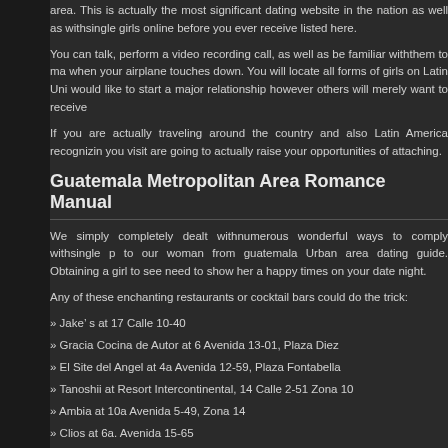area. This is actually the most significant dating website in the nation as well as withsingle girls online before you ever receive listed here.
You can talk, perform a video recording call, as well as be familiar withthem to ma when your airplane touches down. You will locate all forms of girls on Latin Uni would like to start a major relationship however others will merely want to receive
If you are actually traveling around the country and also Latin America recognizin you visit are going to actually raise your opportunities of attaching.
Guatemala Metropolitan Area Romance Manual
We simply completely dealt withnumerous wonderful ways to comply withsingle p to our woman from guatemala Urban area dating guide. Obtaining a girl to see need to show her a happy times on your date night.
Any of these enchanting restaurants or cocktail bars could do the trick:
» Jake’ s at 17 Calle 10-40
» Gracia Cocina de Autor at 6 Avenida 13-01, Plaza Diez
» El Site del Angel at 4a Avenida 12-59, Plaza Fontabella
» Tanoshii at Resort Intercontinental, 14 Calle 2-51 Zona 10
» Ambia at 10a Avenida 5-49, Zona 14
» Clios at 6a. Avenida 15-65
» Karma at 1-81, Via 5
» Meli Meló Fusión Peruana at 5a. Avenida 7-62, CC Euroshops
» El Establo at 14 Calle 508